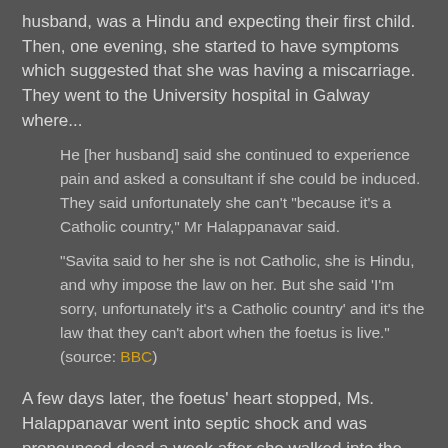husband, was a Hindu and expecting their first child. Then, one evening, she started to have symptoms which suggested that she was having a miscarriage.  They went to the University hospital in Galway where...
He [her husband] said she continued to experience pain and asked a consultant if she could be induced. They said unfortunately she can't "because it's a Catholic country," Mr Halappanavar said.
"Savita said to her she is not Catholic, she is Hindu, and why impose the law on her. But she said 'I'm sorry, unfortunately it's a Catholic country' and it's the law that they can't abort when the foetus is live." (source: BBC)
A few days later, the foetus' heart stopped, Ms. Halappanavar went into septic shock and was pronounced dead a week after she walked into the hospital under her own power.
I mention this tale is not to mourn a young woman or the unborn child (which is right, fitting and proper, certainly).